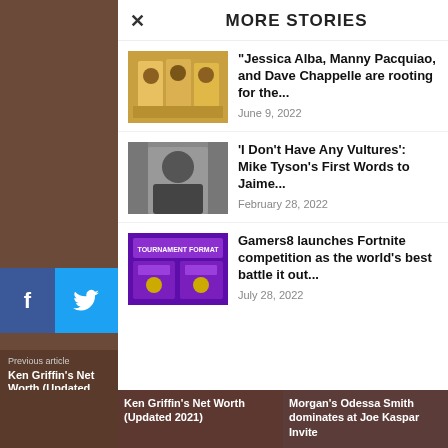MORE STORIES
“Jessica Alba, Manny Pacquiao, and Dave Chappelle are rooting for the...
June 9, 2022
‘I Don’t Have Any Vultures’: Mike Tyson’s First Words to Jaime...
February 28, 2022
Gamers8 launches Fortnite competition as the world’s best battle it out...
July 28, 2022
Previous article
Ken Griffin’s Net Worth (Updated 2021)
Morgan’s Odessa Smith dominates at Joe Kaspar Invite